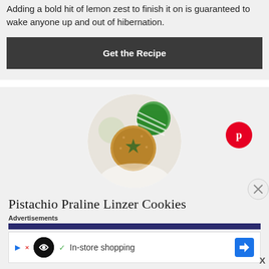Adding a bold hit of lemon zest to finish it on is guaranteed to wake anyone up and out of hibernation.
Get the Recipe
[Figure (photo): Circular cropped photo of a Linzer cookie with a star-shaped cutout, christmas ornaments in background]
Pistachio Praline Linzer Cookies
Advertisements
[Figure (screenshot): Advertisement banner with Loopme ad logo, play icon, checkmark, In-store shopping text, and navigation arrow icon]